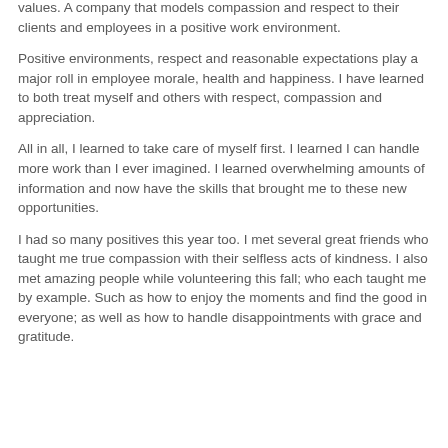values.  A company that models compassion and respect to their clients and employees in a positive work environment.
Positive environments, respect and reasonable expectations play a major roll in employee morale, health and happiness.  I have learned to both treat myself and others with respect, compassion and appreciation.
All in all, I learned to take care of myself first.  I learned I can handle more work than I ever imagined.  I learned overwhelming amounts of information and now have the skills that brought me to these new opportunities.
I had so many positives this year too.  I met several great friends who taught me true compassion with their selfless acts of kindness.   I also met amazing people while volunteering this fall; who each taught me by example.  Such as how to enjoy the moments and find the good in everyone; as well as how to handle disappointments with grace and gratitude.